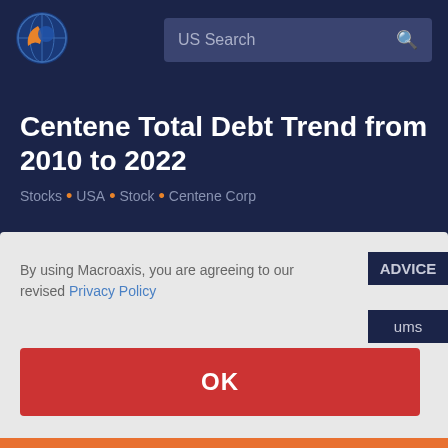[Figure (logo): Macroaxis globe logo with orange and blue colors]
US Search
Centene Total Debt Trend from 2010 to 2022
Stocks . USA . Stock . Centene Corp
By using Macroaxis, you are agreeing to our revised Privacy Policy
OK
ADVICE
ums